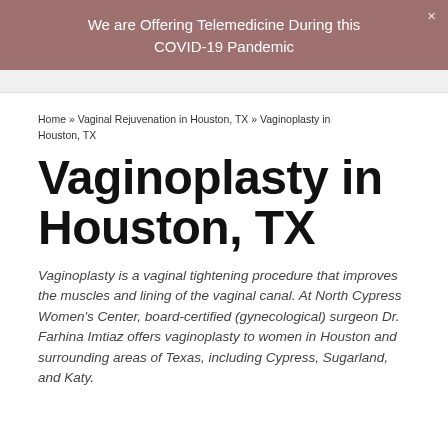We are Offering Telemedicine During this COVID-19 Pandemic
Home » Vaginal Rejuvenation in Houston, TX » Vaginoplasty in Houston, TX
Vaginoplasty in Houston, TX
Vaginoplasty is a vaginal tightening procedure that improves the muscles and lining of the vaginal canal. At North Cypress Women's Center, board-certified (gynecological) surgeon Dr. Farhina Imtiaz offers vaginoplasty to women in Houston and surrounding areas of Texas, including Cypress, Sugarland, and Katy.